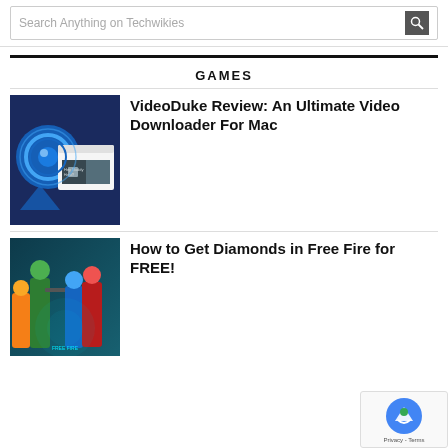Search Anything on Techwikies
GAMES
[Figure (screenshot): Screenshot of VideoDuke app on Mac showing a browser window with a video downloader interface]
VideoDuke Review: An Ultimate Video Downloader For Mac
[Figure (illustration): Promotional artwork for Free Fire game showing armed characters]
How to Get Diamonds in Free Fire for FREE!